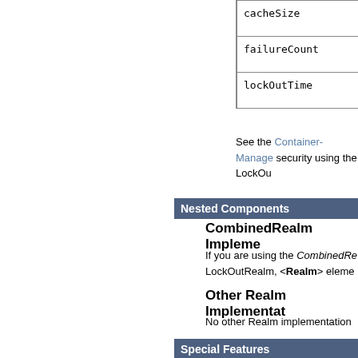| cacheSize |
| failureCount |
| lockOutTime |
See the Container-Managed security using the LockOut...
Nested Components
CombinedRealm Impleme...
If you are using the CombinedRe... LockOutRealm, <Realm> eleme...
Other Realm Implementat...
No other Realm implementation...
Special Features